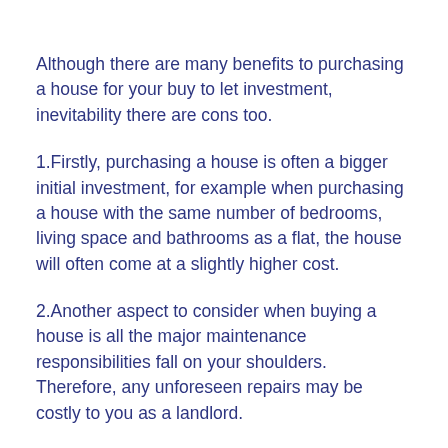Although there are many benefits to purchasing a house for your buy to let investment, inevitability there are cons too.
1.Firstly, purchasing a house is often a bigger initial investment, for example when purchasing a house with the same number of bedrooms, living space and bathrooms as a flat, the house will often come at a slightly higher cost.
2.Another aspect to consider when buying a house is all the major maintenance responsibilities fall on your shoulders. Therefore, any unforeseen repairs may be costly to you as a landlord.